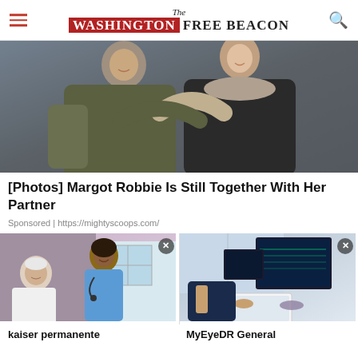The Washington Free Beacon
[Figure (photo): Two people embracing outdoors, one wearing a dark jacket with fur collar]
[Photos] Margot Robbie Is Still Together With Her Partner
Sponsored | https://mightyscoops.com/
[Figure (photo): A smiling nurse in blue scrubs with stethoscope speaking with an elderly patient]
[Figure (photo): People looking at computer monitors and a tablet in what appears to be an office or medical setting]
kaiser permanente
MyEyeDR General